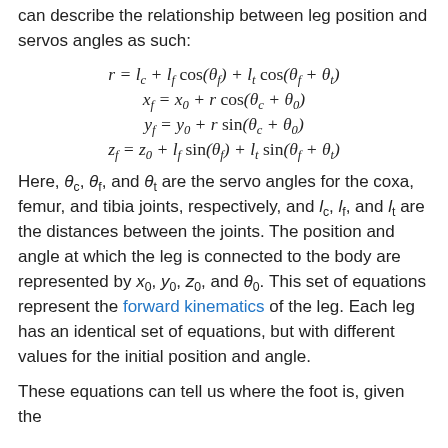can describe the relationship between leg position and servos angles as such:
Here, θ_c, θ_f, and θ_t are the servo angles for the coxa, femur, and tibia joints, respectively, and l_c, l_f, and l_t are the distances between the joints. The position and angle at which the leg is connected to the body are represented by x_0, y_0, z_0, and θ_0. This set of equations represent the forward kinematics of the leg. Each leg has an identical set of equations, but with different values for the initial position and angle.
These equations can tell us where the foot is, given the angles of the servos, but we need to do the opposite, ...